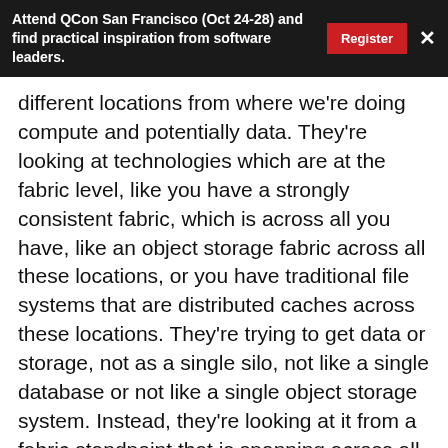Attend QCon San Francisco (Oct 24-28) and find practical inspiration from software leaders. Register ×
different locations from where we're doing compute and potentially data. They're looking at technologies which are at the fabric level, like you have a strongly consistent fabric, which is across all you have, like an object storage fabric across all these locations, or you have traditional file systems that are distributed caches across these locations. They're trying to get data or storage, not as a single silo, not like a single database or not like a single object storage system. Instead, they're looking at it from a fabric standpoint that is spanning across all these different locations. By employing technologies of that type, a lot of your state management for your application, state management for these stateless containers, moving them around, becomes